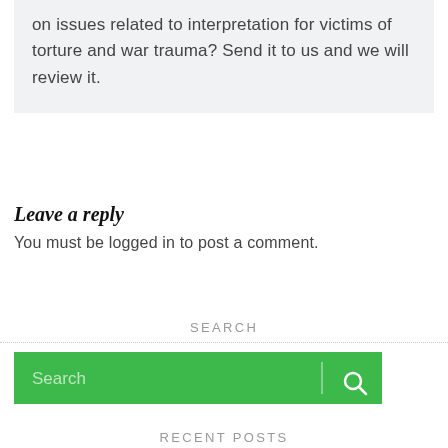on issues related to interpretation for victims of torture and war trauma? Send it to us and we will review it.
Leave a reply
You must be logged in to post a comment.
SEARCH
[Figure (other): Search bar with green background, placeholder text 'Search', vertical divider, and magnifying glass icon on the right]
RECENT POSTS